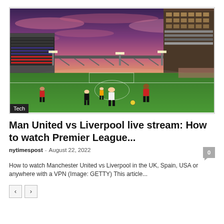[Figure (photo): Football match photo showing Manchester United vs Liverpool players on the pitch at Anfield stadium at dusk, with a dramatic purple and pink sky and stadium lights on. A player in white and one in red are prominent in the foreground near a yellow ball.]
Tech
Man United vs Liverpool live stream: How to watch Premier League...
nytimespost - August 22, 2022
How to watch Manchester United vs Liverpool in the UK, Spain, USA or anywhere with a VPN (Image: GETTY) This article...